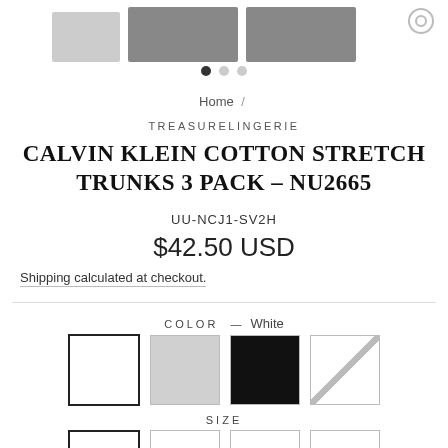[Figure (photo): Product images of Calvin Klein trunks, three views shown at top of page]
Home /
TREASURELINGERIE
CALVIN KLEIN COTTON STRETCH TRUNKS 3 PACK - NU2665
UU-NCJ1-SV2H
$42.50 USD
Shipping calculated at checkout.
COLOR — White
[Figure (illustration): Four color swatches: white (selected/active), light gray, black, and strikethrough/unavailable]
SIZE